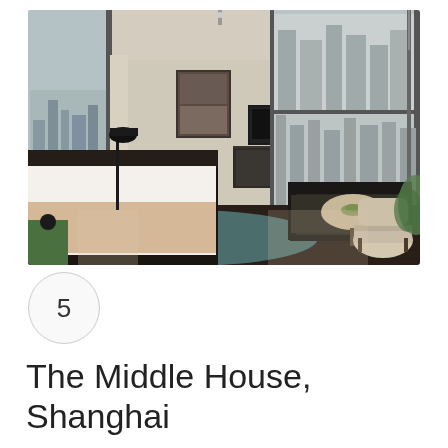[Figure (photo): Hotel room interior at The Middle House, Shanghai. Luxury suite with a large bed with white linens, dark wood flooring, a teal/turquoise area rug, black floor lamp, wall-mounted TV, dark leather sofa, round side tables, and a beige accent chair. Large floor-to-ceiling windows offer a panoramic view of the Shanghai city skyline.]
5
The Middle House, Shanghai